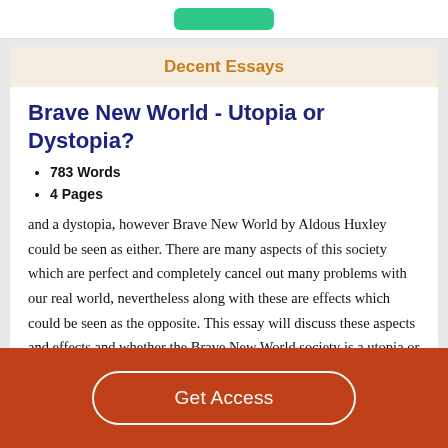[Figure (other): Top white bar with green button]
Decent Essays
Brave New World - Utopia or Dystopia?
783 Words
4 Pages
and a dystopia, however Brave New World by Aldous Huxley could be seen as either. There are many aspects of this society which are perfect and completely cancel out many problems with our real world, nevertheless along with these are effects which could be seen as the opposite. This essay will discuss these aspects and effects and whether the Brave New World society is a utopia or a dystopia. A utopian society
Get Access